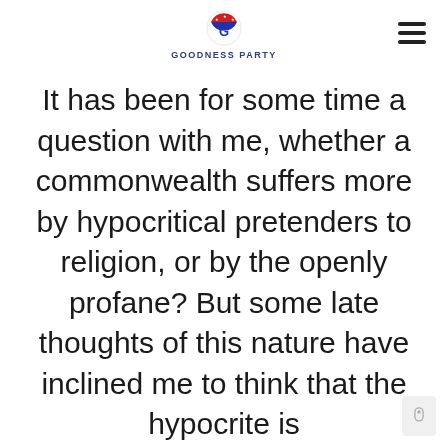[Figure (logo): Goodness Party logo: circular emblem with stars and letter G in red/blue/white colors, with text GOODNESS PARTY below]
It has been for some time a question with me, whether a commonwealth suffers more by hypocritical pretenders to religion, or by the openly profane? But some late thoughts of this nature have inclined me to think that the hypocrite is